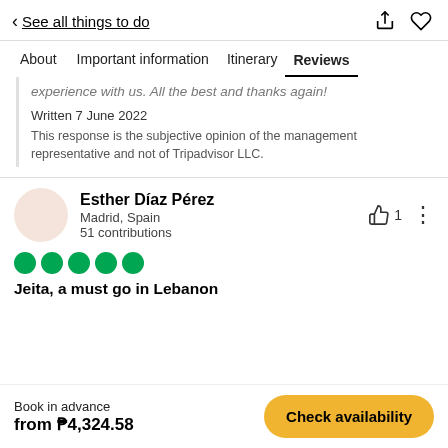< See all things to do
About | Important information | Itinerary | Reviews
experience with us. All the best and thanks again!
Written 7 June 2022
This response is the subjective opinion of the management representative and not of Tripadvisor LLC.
Esther Díaz Pérez
Madrid, Spain
51 contributions
Jeita, a must go in Lebanon
Book in advance
from ₱4,324.58